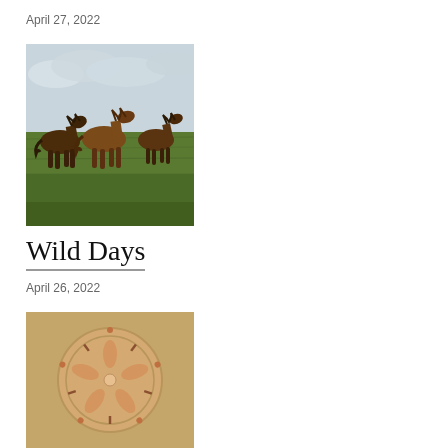April 27, 2022
[Figure (illustration): Painting of several brown horses running through a green grassy field under a cloudy sky]
Wild Days
April 26, 2022
[Figure (illustration): Painting of a sand dollar on a sandy tan background with pink flower-like pattern]